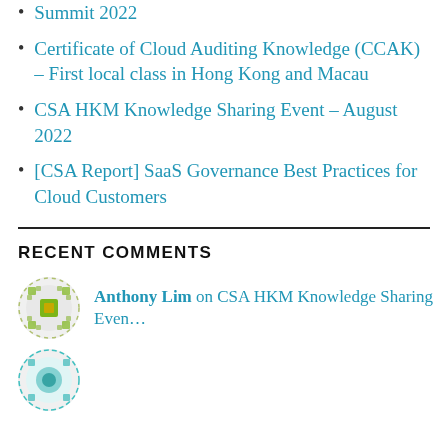Summit 2022
Certificate of Cloud Auditing Knowledge (CCAK) – First local class in Hong Kong and Macau
CSA HKM Knowledge Sharing Event – August 2022
[CSA Report] SaaS Governance Best Practices for Cloud Customers
RECENT COMMENTS
Anthony Lim on CSA HKM Knowledge Sharing Even…